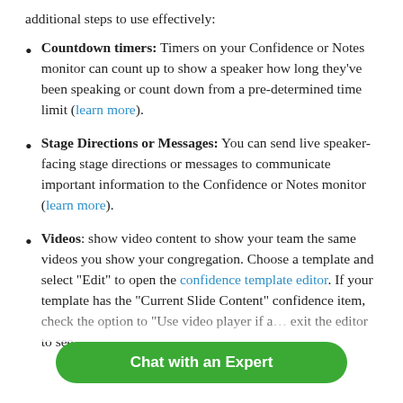additional steps to use effectively:
Countdown timers: Timers on your Confidence or Notes monitor can count up to show a speaker how long they've been speaking or count down from a pre-determined time limit (learn more).
Stage Directions or Messages: You can send live speaker-facing stage directions or messages to communicate important information to the Confidence or Notes monitor (learn more).
Videos: show video content to show your team the same videos you show your congregation. Choose a template and select "Edit" to open the confidence template editor. If your template has the "Current Slide Content" confidence item, check the option to "Use video player if a… exit the editor to see… options.